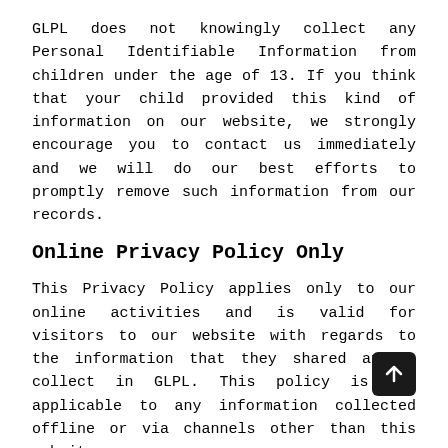GLPL does not knowingly collect any Personal Identifiable Information from children under the age of 13. If you think that your child provided this kind of information on our website, we strongly encourage you to contact us immediately and we will do our best efforts to promptly remove such information from our records.
Online Privacy Policy Only
This Privacy Policy applies only to our online activities and is valid for visitors to our website with regards to the information that they shared and/or collect in GLPL. This policy is not applicable to any information collected offline or via channels other than this website.
Consent